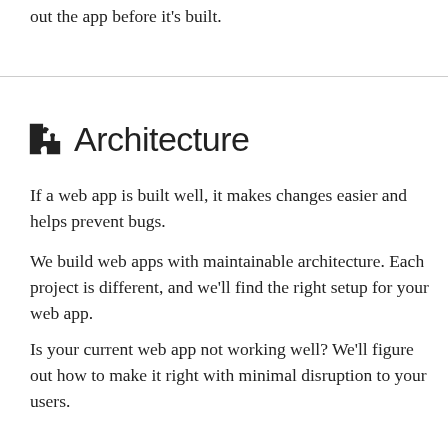out the app before it's built.
Architecture
If a web app is built well, it makes changes easier and helps prevent bugs.
We build web apps with maintainable architecture. Each project is different, and we'll find the right setup for your web app.
Is your current web app not working well? We'll figure out how to make it right with minimal disruption to your users.